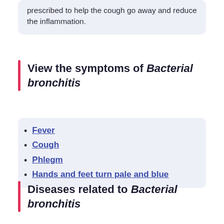prescribed to help the cough go away and reduce the inflammation.
View the symptoms of Bacterial bronchitis
Fever
Cough
Phlegm
Hands and feet turn pale and blue
Diseases related to Bacterial bronchitis